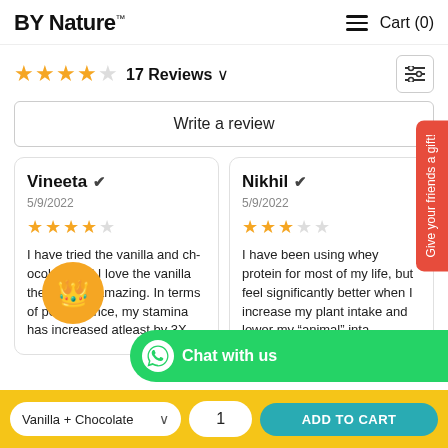BY Nature™   ≡  Cart (0)
★★★★☆ 17 Reviews ∨
Write a review
Vineeta ✓
5/9/2022
★★★★☆
I have tried the vanilla and chocolate and I love the vanilla the flavor is amazing. In terms of performance, my stamina has increased atleast by 3X ...
Nikhil ✓
5/9/2022
★★★☆☆
I have been using whey protein for most of my life, but feel significantly better when I increase my plant intake and lower my "animal" inta...
Chat with us
Give your friends a gift!
Vanilla + Chocolate   1   ADD TO CART